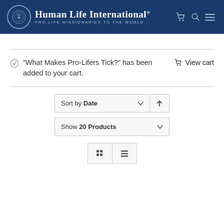[Figure (logo): Human Life International logo with circular emblem and text 'PRO-LIFE MISSIONARIES TO THE WORLD' on dark blue header with cart, search, and menu icons]
“What Makes Pro-Lifers Tick?” has been added to your cart.
🛒 View cart
Sort by Date
Show 20 Products